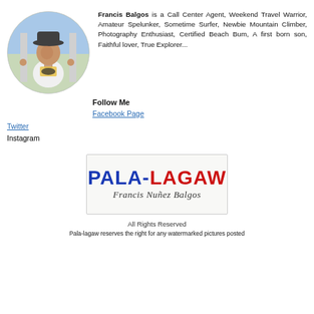[Figure (photo): Circular profile photo of Francis Balgos, a young man wearing a fedora hat and white tank top, standing near a gate outdoors]
Francis Balgos is a Call Center Agent, Weekend Travel Warrior, Amateur Spelunker, Sometime Surfer, Newbie Mountain Climber, Photography Enthusiast, Certified Beach Bum, A first born son, Faithful lover, True Explorer...
Follow Me
Facebook Page
Twitter
Instagram
[Figure (logo): Pala-Lagaw logo with bold colorful text in blue and red, with cursive signature 'Francis Nuñez Balgos' below]
All Rights Reserved
Pala-lagaw reserves the right for any watermarked pictures posted